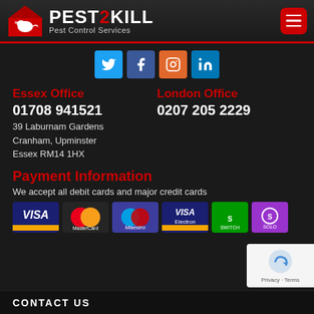[Figure (logo): Pest2Kill logo with red house icon containing a white rat silhouette, company name PEST2KILL with red 2, and subtitle Pest Control Services]
[Figure (infographic): Social media icons row: Twitter (blue), Facebook (dark blue), Instagram (orange), LinkedIn (blue)]
Essex Office
01708 941521
39 Laburnam Gardens
Cranham, Upminster
Essex RM14 1HX
London Office
0207 205 2229
Payment Information
We accept all debit cards and major credit cards
[Figure (infographic): Payment card logos: VISA, MasterCard, Maestro, VISA Electron, Switch, Solo]
CONTACT US